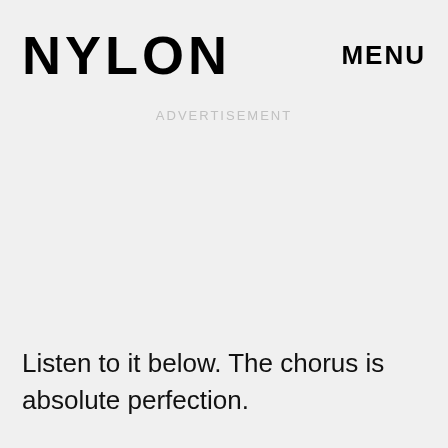NYLON   MENU
ADVERTISEMENT
Listen to it below. The chorus is absolute perfection.